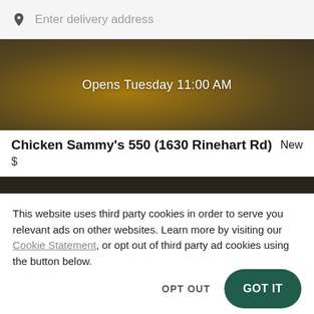Enter delivery address
[Figure (photo): Food photo (pizza/flatbread) with dark overlay and text 'Opens Tuesday 11:00 AM']
Chicken Sammy's 550 (1630 Rinehart Rd)
New
$
[Figure (photo): Partial food photo strip with dark background]
This website uses third party cookies in order to serve you relevant ads on other websites. Learn more by visiting our Cookie Statement, or opt out of third party ad cookies using the button below.
OPT OUT
GOT IT